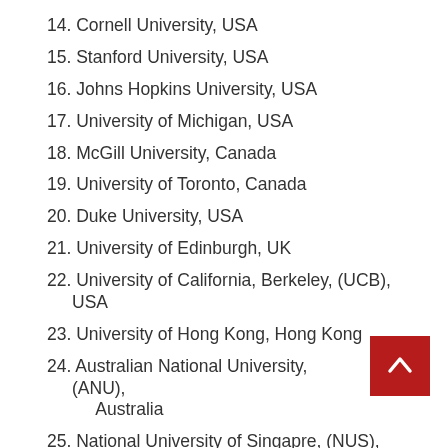14. Cornell University, USA
15. Stanford University, USA
16. Johns Hopkins University, USA
17. University of Michigan, USA
18. McGill University, Canada
19. University of Toronto, Canada
20. Duke University, USA
21. University of Edinburgh, UK
22. University of California, Berkeley, (UCB), USA
23. University of Hong Kong, Hong Kong
24. Australian National University, (ANU), Australia
25. National University of Singapore, (NUS),